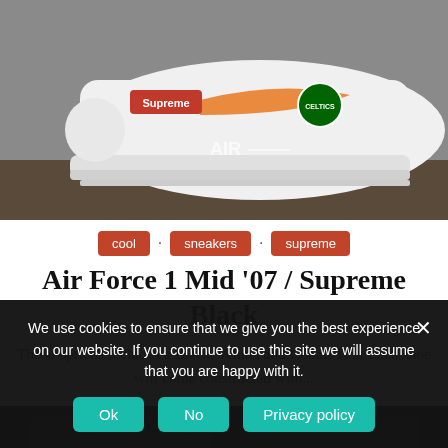[Figure (photo): White Nike Air Force 1 sneaker with Supreme logo patch and NBA team stickers/patches including Celtics, held in hand against a dark background]
cool
sneakers
supreme
Air Force 1 Mid '07 / Supreme Black
Those options includes a Black, White, and Cobalt Tint. Each shoe will come constructed with...
[Figure (photo): Partial view of another sneaker photo, dark background]
We use cookies to ensure that we give you the best experience on our website. If you continue to use this site we will assume that you are happy with it.